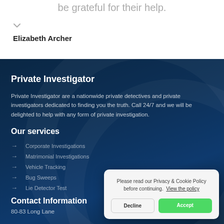be grateful for their help.
Elizabeth Archer
Private Investigator
Private Investigator are a nationwide private detectives and private investigators dedicated to finding you the truth. Call 24/7 and we will be delighted to help with any form of private investigation.
Our services
Corporate Investigations
Matrimonial Investigations
Vehicle Tracking
Bug Sweeps
Lie Detector Test
Contact Information
80-83 Long Lane
Please read our Privacy & Cookie Policy before continuing.  View the policy
Decline
Accept